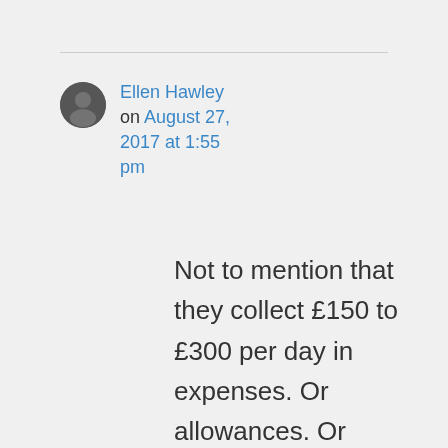[Figure (photo): Small circular avatar photo of a person]
Ellen Hawley on August 27, 2017 at 1:55 pm
Not to mention that they collect £150 to £300 per day in expenses. Or allowances. Or whatevers. I'm not sure how to